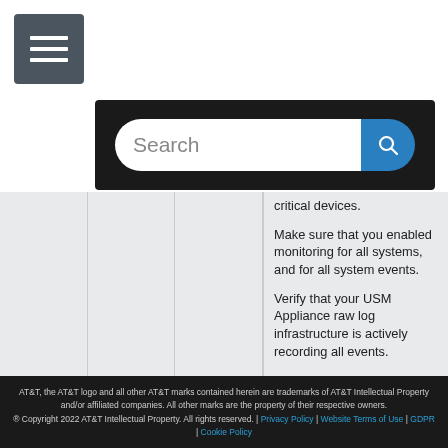[Figure (screenshot): Hamburger menu icon — three horizontal white lines on dark gray/slate square button]
[Figure (screenshot): Search bar UI element with 'Search' placeholder text input and blue search button with magnifying glass icon, on dark background]
critical devices.

Make sure that you enabled monitoring for all systems, and for all system events.

Verify that your USM Appliance raw log infrastructure is actively recording all events.
AT&T, the AT&T logo and all other AT&T marks contained herein are trademarks of AT&T Intellectual Property and/or affiliated companies. All other marks are the property of their respective owners.
® Copyright 2022 AT&T Intellectual Property. All rights reserved. | Privacy Policy | Website Terms of Use | GDPR | Cookie Policy